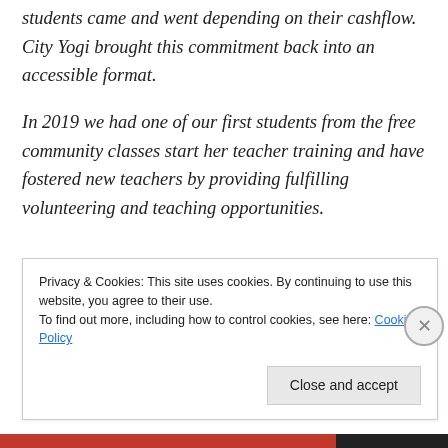students came and went depending on their cashflow. City Yogi brought this commitment back into an accessible format.
In 2019 we had one of our first students from the free community classes start her teacher training and have fostered new teachers by providing fulfilling volunteering and teaching opportunities.
Privacy & Cookies: This site uses cookies. By continuing to use this website, you agree to their use. To find out more, including how to control cookies, see here: Cookie Policy